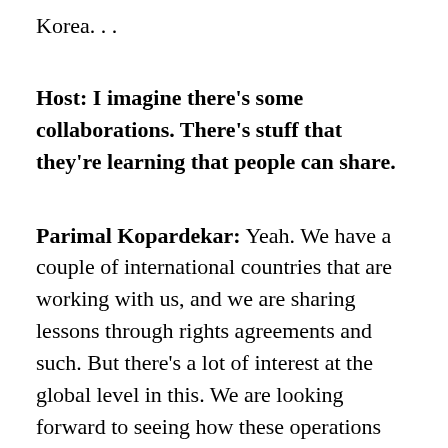Korea. . .
Host: I imagine there's some collaborations. There's stuff that they're learning that people can share.
Parimal Kopardekar: Yeah. We have a couple of international countries that are working with us, and we are sharing lessons through rights agreements and such. But there's a lot of interest at the global level in this. We are looking forward to seeing how these operations can be harmonized across the world so that vehicles built, regardless of which country of origin, can be used in the UTM environment anywhere in the world.